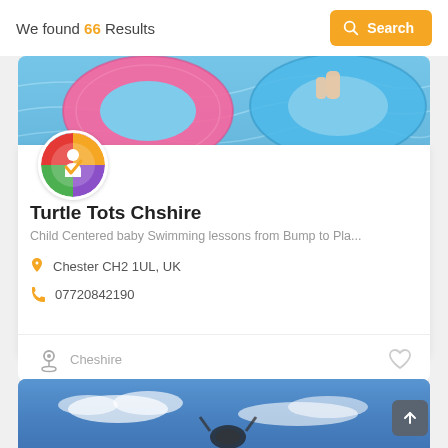We found 66 Results
[Figure (screenshot): Yellow search button with magnifying glass icon and text 'Search']
[Figure (photo): Aerial view of colorful inflatable pool floats (pink and blue rings) in a swimming pool with blue water]
[Figure (logo): Circular rainbow-colored logo with a white checkmark figure icon for Turtle Tots]
Turtle Tots Chshire
Child Centered baby Swimming lessons from Bump to Pla...
Chester CH2 1UL, UK
07720842190
Cheshire
[Figure (photo): Blue sky with white clouds and what appears to be diving equipment in the foreground]